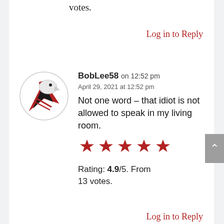votes.
Log in to Reply
[Figure (logo): Atlanta Falcons logo - a stylized falcon head in red, black, and white]
BobLee58 on 12:52 pm
April 29, 2021 at 12:52 pm
Not one word – that idiot is not allowed to speak in my living room.
[Figure (other): Five red filled star rating icons]
Rating: 4.9/5. From 13 votes.
Log in to Reply